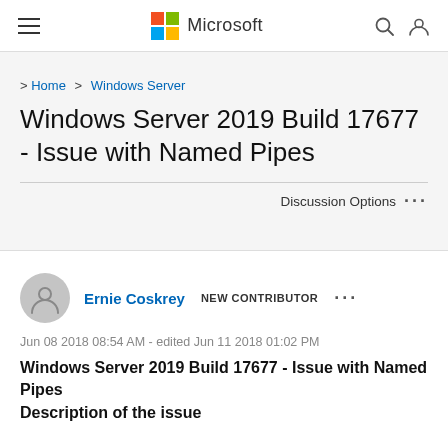Microsoft
Home › Windows Server
Windows Server 2019 Build 17677 - Issue with Named Pipes
Discussion Options ...
Ernie Coskrey  NEW CONTRIBUTOR  ...
Jun 08 2018 08:54 AM - edited Jun 11 2018 01:02 PM
Windows Server 2019 Build 17677 - Issue with Named Pipes
Description of the issue